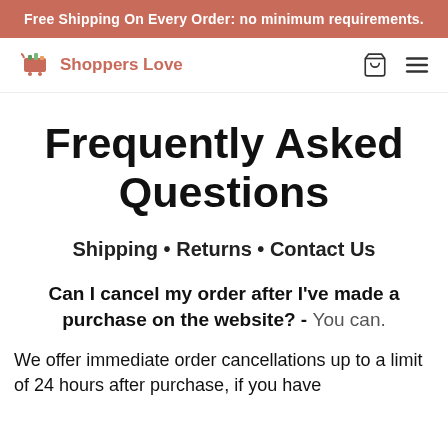Free Shipping On Every Order: no minimum requirements.
[Figure (logo): Shoppers Love logo with shopping cart icon and text]
Frequently Asked Questions
Shipping • Returns • Contact Us
Can I cancel my order after I've made a purchase on the website? - You can.
We offer immediate order cancellations up to a limit of 24 hours after purchase, if you have...